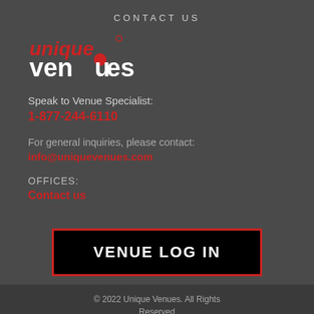CONTACT US
[Figure (logo): Unique Venues logo — 'unique' in red italic, 'venues' in white with a red circle dot on the 'u']
Speak to Venue Specialist:
1-877-244-6110
For general inquiries, please contact:
info@uniquevenues.com
OFFICES:
Contact us
VENUE LOG IN
© 2022 Unique Venues. All Rights Reserved